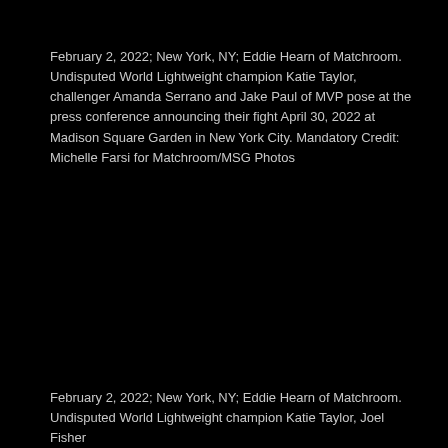February 2, 2022; New York, NY; Eddie Hearn of Matchroom. Undisputed World Lightweight champion Katie Taylor, challenger Amanda Serrano and Jake Paul of MVP pose at the press conference announcing their fight April 30, 2022 at Madison Square Garden in New York City. Mandatory Credit: Michelle Farsi for Matchroom/MSG Photos
February 2, 2022; New York, NY; Eddie Hearn of Matchroom. Undisputed World Lightweight champion Katie Taylor, Joel Fisher